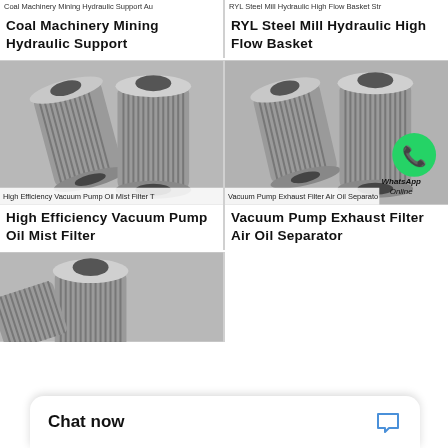Coal Machinery Mining Hydraulic Support Au
RYL Steel Mill Hydraulic High Flow Basket Str
Coal Machinery Mining Hydraulic Support
RYL Steel Mill Hydraulic High Flow Basket
[Figure (photo): Industrial hydraulic filter cylinders, two stainless steel cylindrical filter elements]
High Efficiency Vacuum Pump Oil Mist Filter
[Figure (photo): Vacuum pump exhaust filter air oil separator with WhatsApp Online overlay]
Vacuum Pump Exhaust Filter Air Oil Separator
High Efficiency Vacuum Pump Oil Mist Filter
Vacuum Pump Exhaust Filter Air Oil Separator
[Figure (photo): Single industrial filter element cylinder, partially cropped]
Chat now